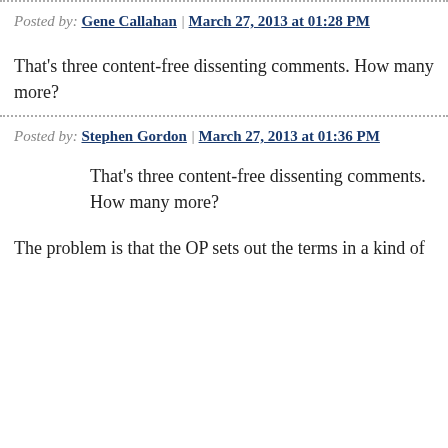Posted by: Gene Callahan | March 27, 2013 at 01:28 PM
That's three content-free dissenting comments. How many more?
Posted by: Stephen Gordon | March 27, 2013 at 01:36 PM
That's three content-free dissenting comments. How many more?
The problem is that the OP sets out the terms in a kind of